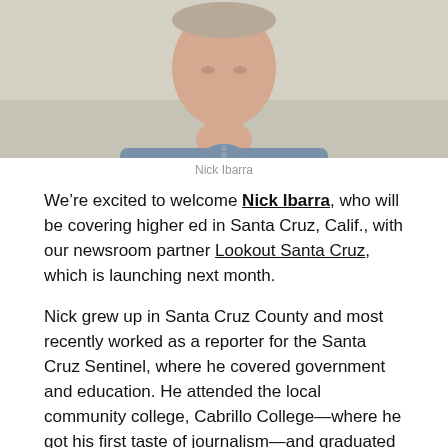[Figure (photo): Headshot photo of Nick Ibarra, a man wearing a blue chambray shirt, photographed from the chest up against a light background.]
Nick Ibarra
We’re excited to welcome Nick Ibarra, who will be covering higher ed in Santa Cruz, Calif., with our newsroom partner Lookout Santa Cruz, which is launching next month.
Nick grew up in Santa Cruz County and most recently worked as a reporter for the Santa Cruz Sentinel, where he covered government and education. He attended the local community college, Cabrillo College—where he got his first taste of journalism—and graduated from San Jose State University.
“Santa Cruz County is where I’ve spent most of my